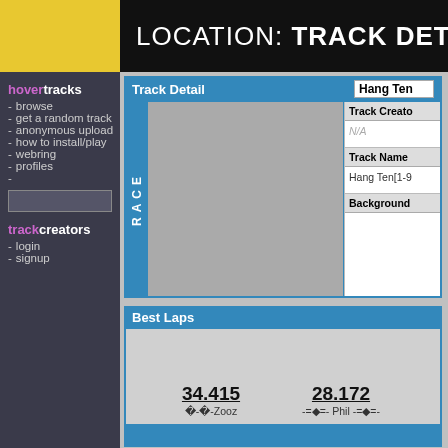LOCATION: TRACK DETAIL
hover tracks
- browse
- get a random track
- anonymous upload
- how to install/play
- webring
- profiles
track creators
- login
- signup
Track Detail
Hang Ten
Track Creator:
N/A
Track Name:
Hang Ten[ 1-9
Background:
Best Laps
34.415 -  - -Zooz
28.172 - -=◆=- Phil -=◆=-